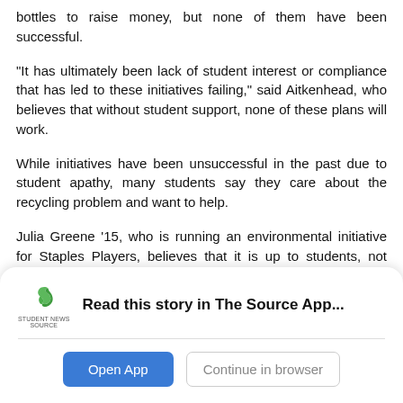bottles to raise money, but none of them have been successful.
“It has ultimately been lack of student interest or compliance that has led to these initiatives failing,” said Aitkenhead, who believes that without student support, none of these plans will work.
While initiatives have been unsuccessful in the past due to student apathy, many students say they care about the recycling problem and want to help.
Julia Greene ’15, who is running an environmental initiative for Staples Players, believes that it is up to students, not custodians, to solve the problem.
[Figure (logo): Student News Source app logo - green S icon with 'STUDENT NEWS SOURCE' text below]
Read this story in The Source App...
Open App
Continue in browser